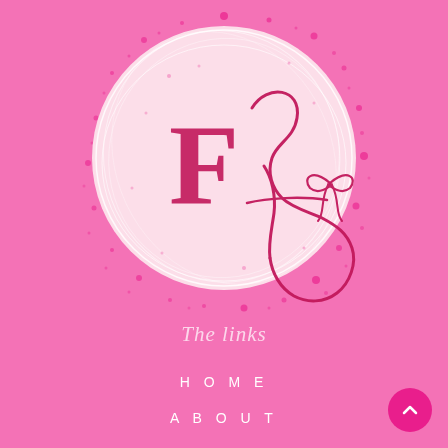[Figure (logo): Circular logo with decorative script letters F and fa (or fr) with a bow, on a light pink circle background with sparkle dots pattern. Set against a hot pink background.]
The links
H O M E
A B O U T